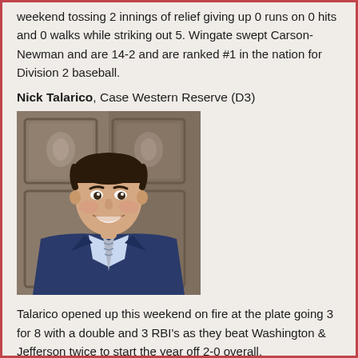weekend tossing 2 innings of relief giving up 0 runs on 0 hits and 0 walks while striking out 5. Wingate swept Carson-Newman and are 14-2 and are ranked #1 in the nation for Division 2 baseball.
Nick Talarico, Case Western Reserve (D3)
[Figure (photo): Headshot of Nick Talarico, a young man in a blue suit and striped tie, smiling, with dark curly hair, standing in front of ornate wooden doors.]
Talarico opened up this weekend on fire at the plate going 3 for 8 with a double and 3 RBI's as they beat Washington & Jefferson twice to start the year off 2-0 overall.
Armon Taroosian, Lindy (D2)